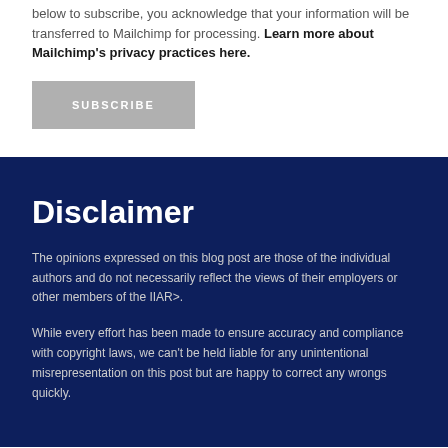below to subscribe, you acknowledge that your information will be transferred to Mailchimp for processing. Learn more about Mailchimp's privacy practices here.
SUBSCRIBE
Disclaimer
The opinions expressed on this blog post are those of the individual authors and do not necessarily reflect the views of their employers or other members of the IIAR>.
While every effort has been made to ensure accuracy and compliance with copyright laws, we can't be held liable for any unintentional misrepresentation on this post but are happy to correct any wrongs quickly.